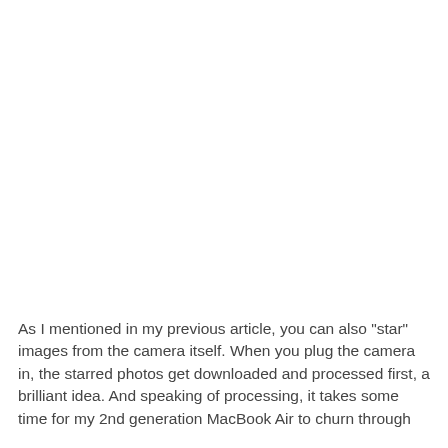As I mentioned in my previous article, you can also "star" images from the camera itself. When you plug the camera in, the starred photos get downloaded and processed first, a brilliant idea. And speaking of processing, it takes some time for my 2nd generation MacBook Air to churn through